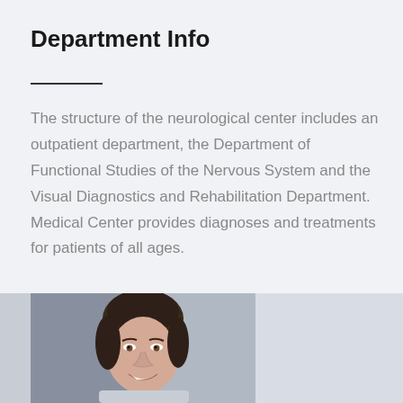Department Info
The structure of the neurological center includes an outpatient department, the Department of Functional Studies of the Nervous System and the Visual Diagnostics and Rehabilitation Department. Medical Center provides diagnoses and treatments for patients of all ages.
[Figure (photo): Portrait photo of a smiling young woman with dark hair pulled back, wearing a light-colored top, photographed in a clinical/office environment with a blurred background.]